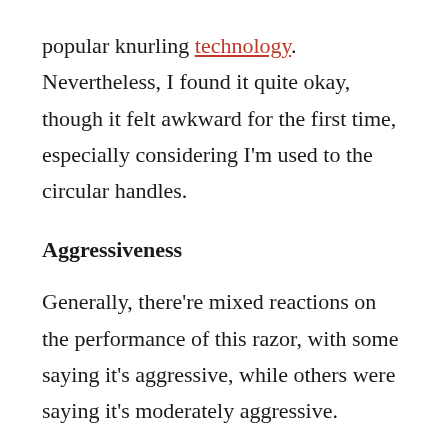popular knurling technology. Nevertheless, I found it quite okay, though it felt awkward for the first time, especially considering I'm used to the circular handles.
Aggressiveness
Generally, there're mixed reactions on the performance of this razor, with some saying it's aggressive, while others were saying it's moderately aggressive.
While open comb razors tend to be more aggressive, the small blade gap on the 1904